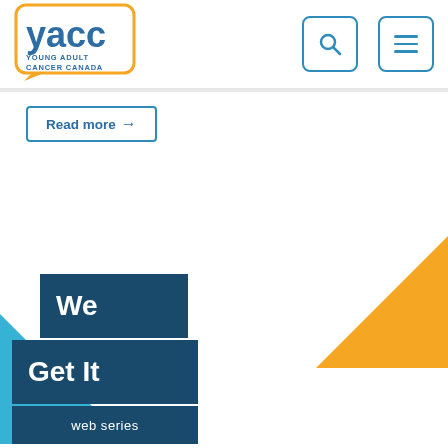[Figure (logo): YACC Young Adult Cancer Canada logo — speech bubble outline in gold/yellow with blue text 'yacc' and smaller text 'YOUNG ADULT CANCER CANADA']
[Figure (illustration): Search icon (magnifying glass) inside a blue rounded-corner square border]
[Figure (illustration): Hamburger menu icon (three horizontal lines) inside a blue rounded-corner square border]
Read more →
[Figure (illustration): Orange filled triangle in the upper-right corner area of the page]
[Figure (illustration): Cyan/blue filled triangle in the lower-left area of the page]
[Figure (illustration): Dark blue rectangles showing 'We' on first line and 'Get It' on second line and 'web series' on third line, overlaying a teal background triangle — part of the We Get It web series promotional graphic]